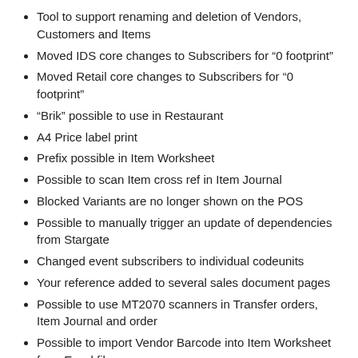Tool to support renaming and deletion of Vendors, Customers and Items
Moved IDS core changes to Subscribers for “0 footprint”
Moved Retail core changes to Subscribers for “0 footprint”
“Brik” possible to use in Restaurant
A4 Price label print
Prefix possible in Item Worksheet
Possible to scan Item cross ref in Item Journal
Blocked Variants are no longer shown on the POS
Possible to manually trigger an update of dependencies from Stargate
Changed event subscribers to individual codeunits
Your reference added to several sales document pages
Possible to use MT2070 scanners in Transfer orders, Item Journal and order
Possible to import Vendor Barcode into Item Worksheet from Excel file